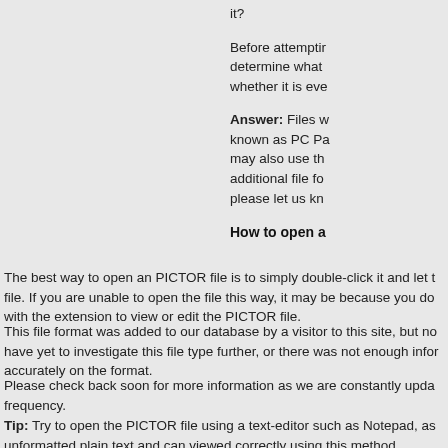it?
Before attempting determine what whether it is eve
Answer: Files w known as PC P may also use th additional file fo please let us kn
How to open a
The best way to open an PICTOR file is to simply double-click it and let t file. If you are unable to open the file this way, it may be because you do with the extension to view or edit the PICTOR file.
This file format was added to our database by a visitor to this site, but no have yet to investigate this file type further, or there was not enough info accurately on the format.
Please check back soon for more information as we are constantly upda frequency.
Tip: Try to open the PICTOR file using a text-editor such as Notepad, as unformatted plain text and can viewed correctly using this method.